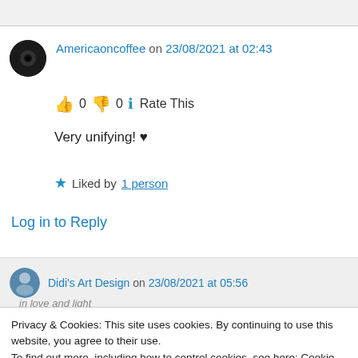Americaoncoffee on 23/08/2021 at 02:43
👍 0 👎 0 ℹ Rate This
Very unifying! ♥
★ Liked by 1 person
Log in to Reply
Didi's Art Design on 23/08/2021 at 05:56
Privacy & Cookies: This site uses cookies. By continuing to use this website, you agree to their use.
To find out more, including how to control cookies, see here: Cookie Policy
Close and accept
in love and light